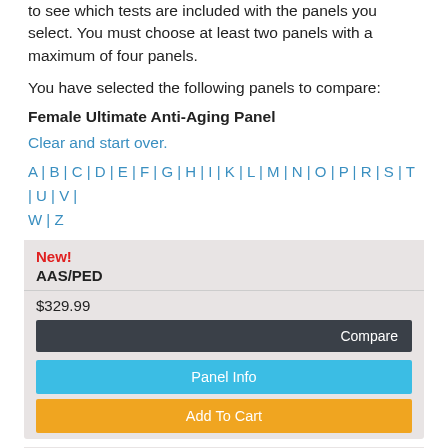to see which tests are included with the panels you select. You must choose at least two panels with a maximum of four panels.
You have selected the following panels to compare:
Female Ultimate Anti-Aging Panel
Clear and start over.
A | B | C | D | E | F | G | H | I | K | L | M | N | O | P | R | S | T | U | V | W | Z
| New! | AAS/PED |
| $329.99 | Compare |
| Panel Info |
| Add To Cart |
New!